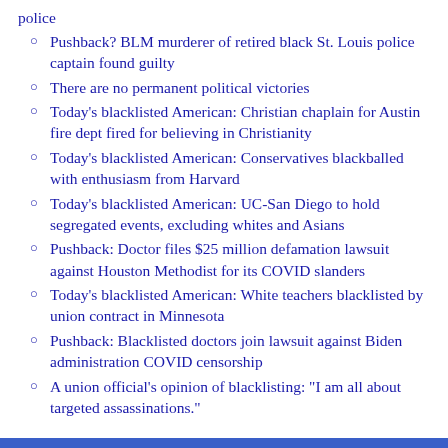police
Pushback? BLM murderer of retired black St. Louis police captain found guilty
There are no permanent political victories
Today’s blacklisted American: Christian chaplain for Austin fire dept fired for believing in Christianity
Today’s blacklisted American: Conservatives blackballed with enthusiasm from Harvard
Today’s blacklisted American: UC-San Diego to hold segregated events, excluding whites and Asians
Pushback: Doctor files $25 million defamation lawsuit against Houston Methodist for its COVID slanders
Today’s blacklisted American: White teachers blacklisted by union contract in Minnesota
Pushback: Blacklisted doctors join lawsuit against Biden administration COVID censorship
A union official’s opinion of blacklisting: “I am all about targeted assassinations.”